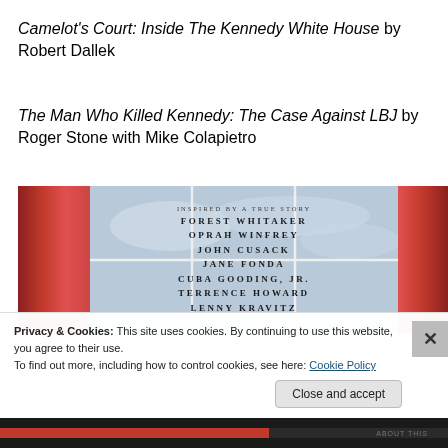Camelot's Court: Inside The Kennedy White House by Robert Dallek
The Man Who Killed Kennedy: The Case Against LBJ by Roger Stone with Mike Colapietro
[Figure (photo): Movie poster / promotional image showing a window with red curtains and cast names: Forest Whitaker, Oprah Winfrey, John Cusack, Jane Fonda, Cuba Gooding Jr., Terrence Howard, Lenny Kravitz. Text at top reads 'Inspired by a True Story'.]
Privacy & Cookies: This site uses cookies. By continuing to use this website, you agree to their use.
To find out more, including how to control cookies, see here: Cookie Policy